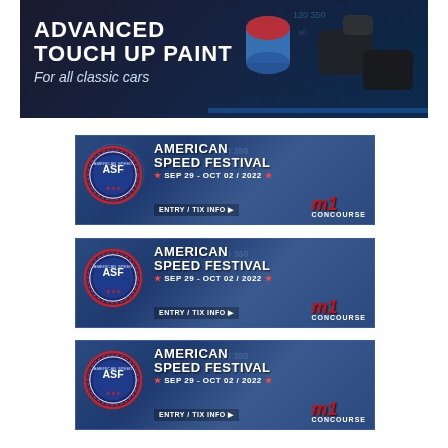[Figure (photo): Advanced Touch Up Paint banner ad showing paint products on dark blue/black background with text 'ADVANCED TOUCH UP PAINT - For all classic cars']
[Figure (photo): American Speed Festival banner ad with ASF circular logo, text 'AMERICAN SPEED FESTIVAL', dates 'SEP 29 - OCT 02 / 2022', 'ENTRY / TIX INFO' button, and M1 Concourse logo on blue background]
[Figure (photo): American Speed Festival banner ad (duplicate) with ASF circular logo, text 'AMERICAN SPEED FESTIVAL', dates 'SEP 29 - OCT 02 / 2022', 'ENTRY / TIX INFO' button, and M1 Concourse logo on blue background]
[Figure (photo): American Speed Festival banner ad (duplicate) with ASF circular logo, text 'AMERICAN SPEED FESTIVAL', dates 'SEP 29 - OCT 02 / 2022', 'ENTRY / TIX INFO' button, and M1 Concourse logo on blue background]